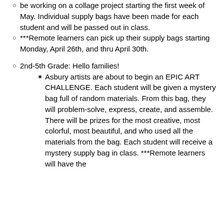be working on a collage project starting the first week of May.  Individual supply bags have been made for each student and will be passed out in class.
***Remote learners can pick up their supply bags starting Monday, April 26th, and thru April 30th.
2nd-5th Grade:  Hello families!
Asbury artists are about to begin an EPIC ART CHALLENGE.  Each student will be given a mystery bag full of random materials.  From this bag, they will problem-solve, express, create, and assemble.  There will be prizes for the most creative, most colorful, most beautiful, and who used all the materials from the bag.  Each student will receive a mystery supply bag in class.  ***Remote learners will have the